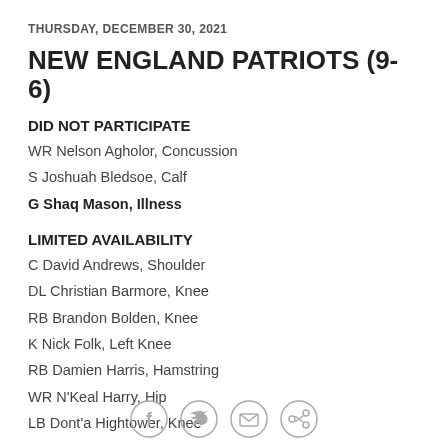THURSDAY, DECEMBER 30, 2021
NEW ENGLAND PATRIOTS (9-6)
DID NOT PARTICIPATE
WR Nelson Agholor, Concussion
S Joshuah Bledsoe, Calf
G Shaq Mason, Illness
LIMITED AVAILABILITY
C David Andrews, Shoulder
DL Christian Barmore, Knee
RB Brandon Bolden, Knee
K Nick Folk, Left Knee
RB Damien Harris, Hamstring
WR N'Keal Harry, Hip
LB Dont'a Hightower, Knee
[Figure (other): Social sharing icons: Facebook, Twitter, Email, Link]